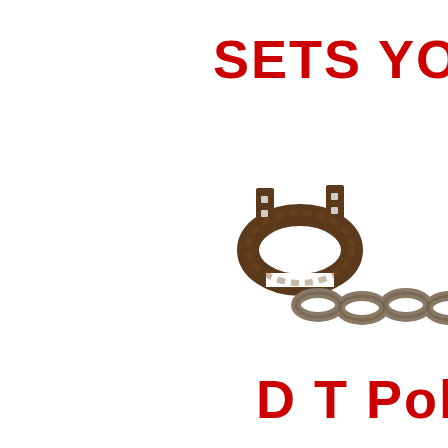SETS YO
[Figure (photo): A rusty iron shackle/ankle cuff attached to a metal chain, photographed on a white background. The shackle has two flat rectangular tabs with holes, forming a ring that clasps shut. A heavy-link chain extends from the shackle to the right.]
D T Pol